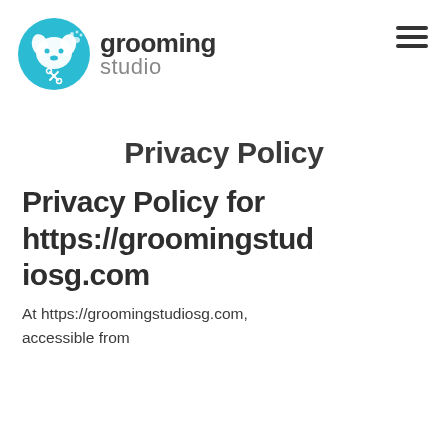[Figure (logo): Grooming Studio logo: teal circle with white dog illustration, next to text 'grooming studio']
Privacy Policy
Privacy Policy for https://groomingstudiosg.com
At https://groomingstudiosg.com, accessible from